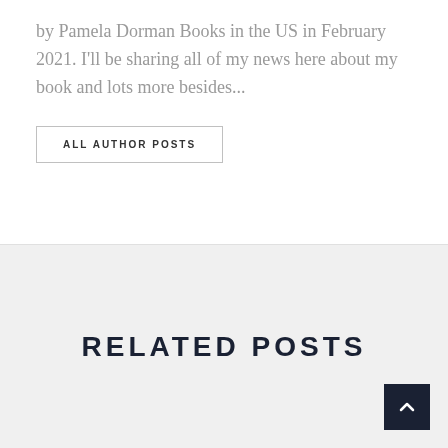by Pamela Dorman Books in the US in February 2021. I'll be sharing all of my news here about my book and lots more besides...
ALL AUTHOR POSTS
RELATED POSTS